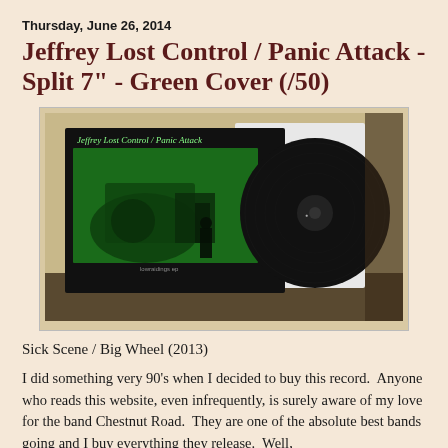Thursday, June 26, 2014
Jeffrey Lost Control / Panic Attack - Split 7" - Green Cover (/50)
[Figure (photo): Photograph of a vinyl record and its black album cover sleeve. The cover features green artwork with text 'Jeffrey Lost Control / Panic Attack' and an image of a person near large machinery. The black vinyl record is visible to the right of the sleeve.]
Sick Scene / Big Wheel (2013)
I did something very 90's when I decided to buy this record.  Anyone who reads this website, even infrequently, is surely aware of my love for the band Chestnut Road.  They are one of the absolute best bands going and I buy everything they release.  Well,